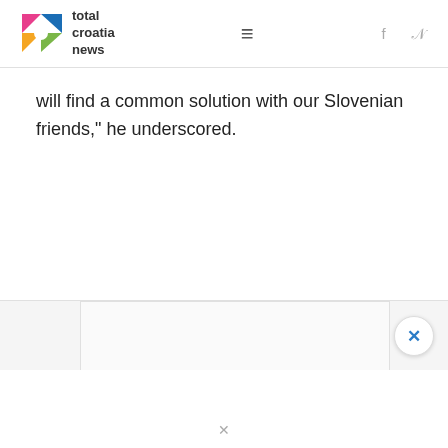total croatia news
will find a common solution with our Slovenian friends," he underscored.